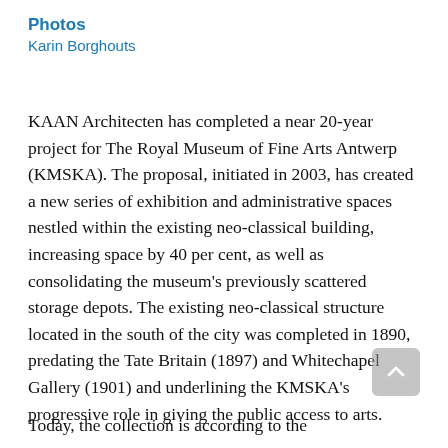Photos
Karin Borghouts
KAAN Architecten has completed a near 20-year project for The Royal Museum of Fine Arts Antwerp (KMSKA). The proposal, initiated in 2003, has created a new series of exhibition and administrative spaces nestled within the existing neo-classical building, increasing space by 40 per cent, as well as consolidating the museum's previously scattered storage depots. The existing neo-classical structure located in the south of the city was completed in 1890, predating the Tate Britain (1897) and Whitechapel Gallery (1901) and underlining the KMSKA's progressive role in giving the public access to arts.
Today, the collection is according to the...